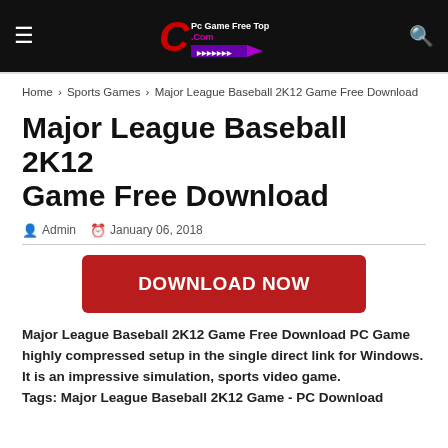≡   Pc Game Free Top .Com   🔍
Home › Sports Games › Major League Baseball 2K12 Game Free Download
Major League Baseball 2K12 Game Free Download
Admin   January 06, 2018
[Figure (other): Red download button with text DOWNLOAD NOW]
Major League Baseball 2K12 Game  Free Download PC Game highly compressed setup in the single direct link for Windows. It is an impressive simulation, sports video game.
Tags: Major League Baseball 2K12 Game - PC Download